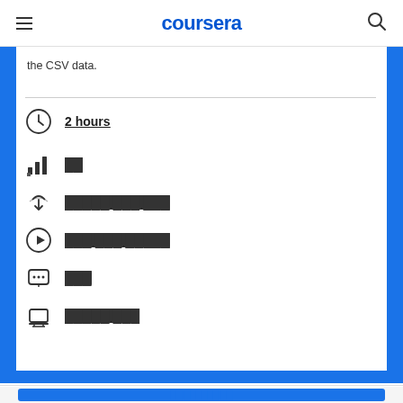coursera
the CSV data.
2 hours
██
█████ ███ ███
███ ███ █████
███
█████ ███
██ ██████ ██